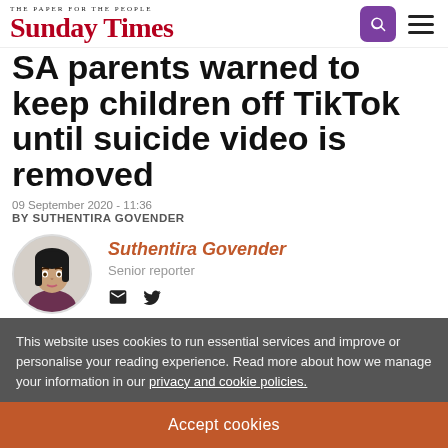The Paper For The People — Sunday Times
SA parents warned to keep children off TikTok until suicide video is removed
09 September 2020 - 11:36
BY SUTHENTIRA GOVENDER
[Figure (photo): Portrait photo of Suthentira Govender, a woman with dark hair]
Suthentira Govender
Senior reporter
This website uses cookies to run essential services and improve or personalise your reading experience. Read more about how we manage your information in our privacy and cookie policies.
Accept cookies